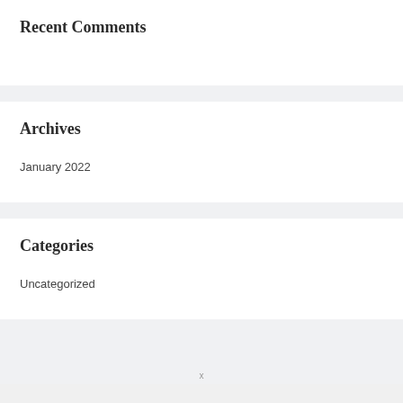Recent Comments
Archives
January 2022
Categories
Uncategorized